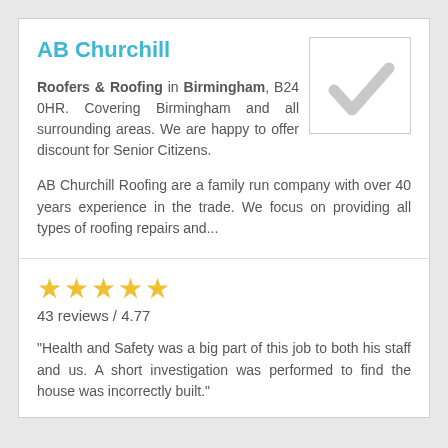AB Churchill
Roofers & Roofing in Birmingham, B24 0HR. Covering Birmingham and all surrounding areas. We are happy to offer discount for Senior Citizens.
[Figure (logo): Placeholder logo box with a light grey checkmark icon]
AB Churchill Roofing are a family run company with over 40 years experience in the trade. We focus on providing all types of roofing repairs and...
★★★★★
43 reviews / 4.77
"Health and Safety was a big part of this job to both his staff and us. A short investigation was performed to find the house was incorrectly built."